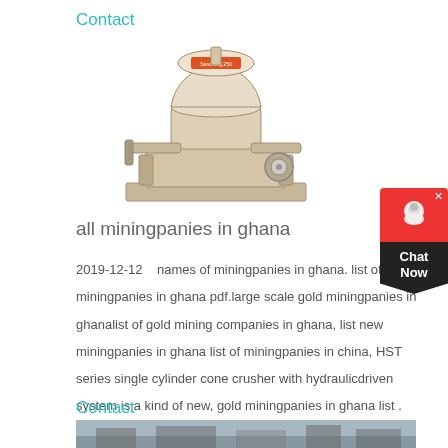Contact
[Figure (photo): Industrial cone crusher machine, beige/cream colored, HST series single cylinder cone crusher]
all miningpanies in ghana
2019-12-12    names of miningpanies in ghana. list of miningpanies in ghana pdf.large scale gold miningpanies in ghanalist of gold mining companies in ghana, list new miningpanies in ghana list of miningpanies in china, HST series single cylinder cone crusher with hydraulicdriven system is a kind of new, gold miningpanies in ghana list .
Contact
[Figure (photo): Industrial facility or mining plant landscape photo, grey tones]